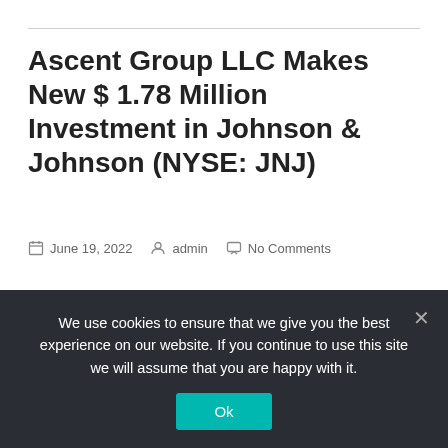Ascent Group LLC Makes New $ 1.78 Million Investment in Johnson & Johnson (NYSE: JNJ)
June 19, 2022  admin  No Comments
[Figure (logo): Johnson & Johnson logo in red cursive script]
We use cookies to ensure that we give you the best experience on our website. If you continue to use this site we will assume that you are happy with it.